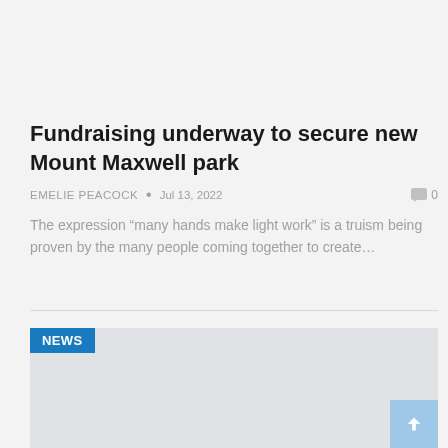Fundraising underway to secure new Mount Maxwell park
EMELIE PEACOCK  •  Jul 13, 2022  ◻ 0
The expression “many hands make light work” is a truism being proven by the many people coming together to create…
NEWS